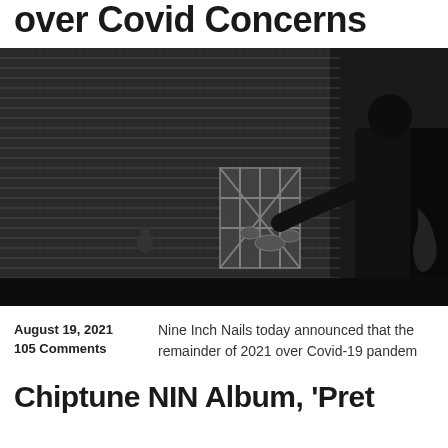over Covid Concerns
[Figure (photo): Black and white photo of a musician (silhouette, back to camera) standing on a stage in front of a large empty stadium with bleachers. Stage equipment and drum kit visible in the background.]
August 19, 2021
105 Comments
Nine Inch Nails today announced that the remainder of 2021 over Covid-19 pandem
Chiptune NIN Album, 'Pret